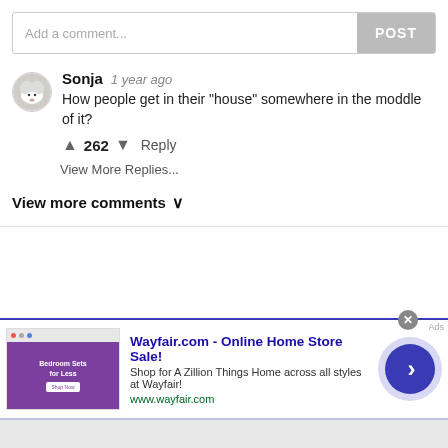Add a comment...
Sonja  1 year ago
How people get in their "house" somewhere in the moddle of it?
↑ 262 ↓  Reply
View More Replies...
View more comments ∨
[Figure (screenshot): Wayfair.com advertisement banner with purple bedroom image, bold blue title 'Wayfair.com - Online Home Store Sale!', subtitle 'Shop for A Zillion Things Home across all styles at Wayfair!', URL www.wayfair.com, a blue circular arrow button, and an X close button]